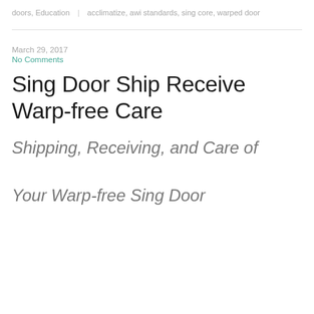doors, Education | acclimatize, awi standards, sing core, warped door
March 29, 2017
No Comments
Sing Door Ship Receive Warp-free Care
Shipping, Receiving, and Care of
Your Warp-free Sing Door